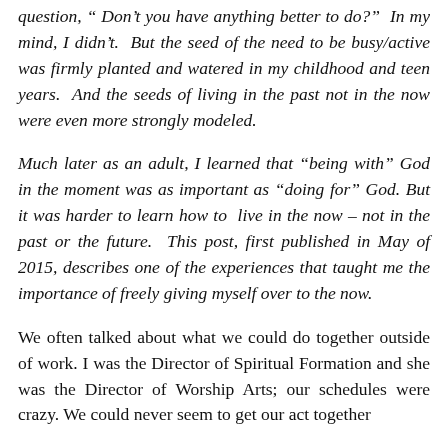question, “ Don’t you have anything better to do?”  In my mind, I didn’t.  But the seed of the need to be busy/active was firmly planted and watered in my childhood and teen years.  And the seeds of living in the past not in the now were even more strongly modeled.
Much later as an adult, I learned that “being with” God in the moment was as important as “doing for” God. But it was harder to learn how to  live in the now – not in the past or the future.  This post, first published in May of 2015, describes one of the experiences that taught me the importance of freely giving myself over to the now.
We often talked about what we could do together outside of work. I was the Director of Spiritual Formation and she was the Director of Worship Arts; our schedules were crazy. We could never seem to get our act together